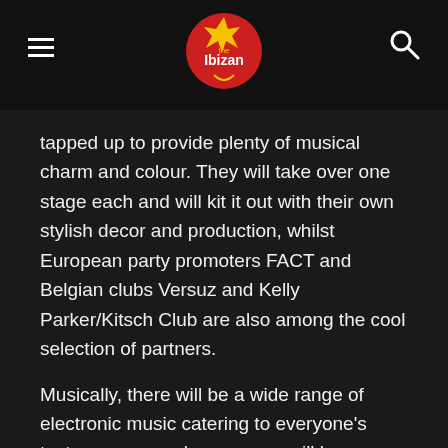The Ibizan
tapped up to provide plenty of musical charm and colour. They will take over one stage each and will kit it out with their own stylish decor and production, whilst European party promoters FACT and Belgian clubs Versuz and Kelly Parker/Kitsch Club are also among the cool selection of partners.
Musically, there will be a wide range of electronic music catering to everyone's taste so you can be sure you will be dancing non-stop throughout.
Three cities, one island
The ship sets sail from Barcelona on Thursday, August 31 and from there will travel to Ibiza, where it will dock for an